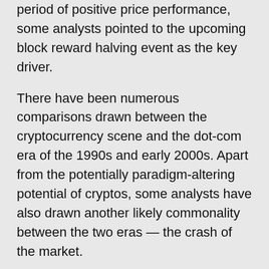period of positive price performance, some analysts pointed to the upcoming block reward halving event as the key driver.
There have been numerous comparisons drawn between the cryptocurrency scene and the dot-com era of the 1990s and early 2000s. Apart from the potentially paradigm-altering potential of cryptos, some analysts have also drawn another likely commonality between the two eras — the crash of the market.
Often times, there is the talk of a coming crypto apocalypse that would eliminate from existence many of the over 2,000 altcoin species around today. The aftermath would be similar to the period of the post-dot-com bubble, which saw the rise of the internet giants known across the globe in this present time. Brandt encapsulated this argument in a tweet published at the back end of June 2019, saying:
“Many altcoins benefited from the last bull run in $BTC.